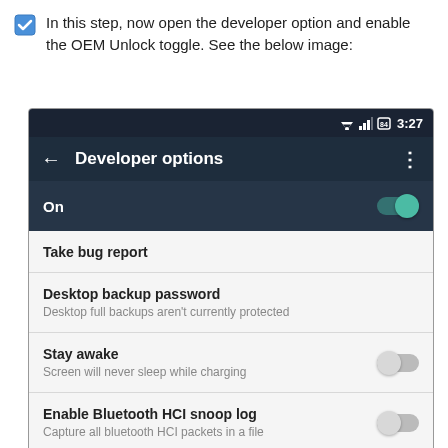In this step, now open the developer option and enable the OEM Unlock toggle. See the below image:
[Figure (screenshot): Android Developer options screen showing status bar with time 3:27, Developer options title bar with back arrow and menu dots, On toggle enabled (teal), and settings list items: Take bug report, Desktop backup password (Desktop full backups aren't currently protected), Stay awake (Screen will never sleep while charging) with grey toggle off, Enable Bluetooth HCI snoop log (Capture all bluetooth HCI packets in a file) with grey toggle off.]